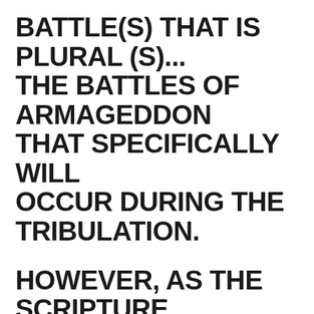BATTLE(S) THAT IS PLURAL (S)... THE BATTLES OF ARMAGEDDON THAT SPECIFICALLY WILL OCCUR DURING THE TRIBULATION.
HOWEVER, AS THE SCRIPTURE SAYS HERE REGARDING THIS SECOND SEALS THAT WITH THIS SECOND SEAL, PEACE IS TAKEN IT COULD BE THAT SPECIFICALLY AT THE BEGINNING, THE PEACE IS